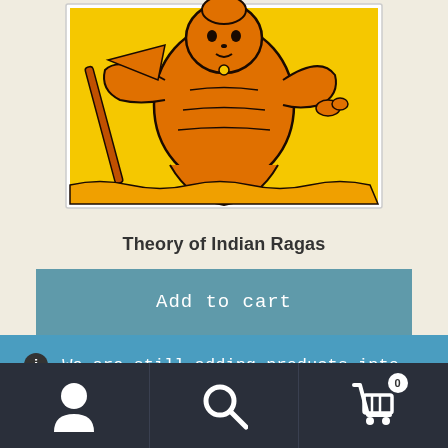[Figure (illustration): Indian folk art illustration of a deity (likely Saraswati or similar) in orange and yellow tones with black outlines, playing a musical instrument]
Theory of Indian Ragas
Add to cart
We are still adding products into the shop, so check back weekly for new items. Dismiss